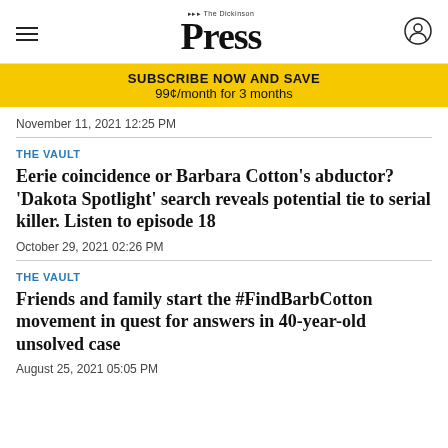The Dickinson Press
SUBSCRIBE NOW AND SAVE
99¢/month for 3 months
November 11, 2021 12:25 PM
THE VAULT
Eerie coincidence or Barbara Cotton's abductor? 'Dakota Spotlight' search reveals potential tie to serial killer. Listen to episode 18
October 29, 2021 02:26 PM
THE VAULT
Friends and family start the #FindBarbCotton movement in quest for answers in 40-year-old unsolved case
August 25, 2021 05:05 PM